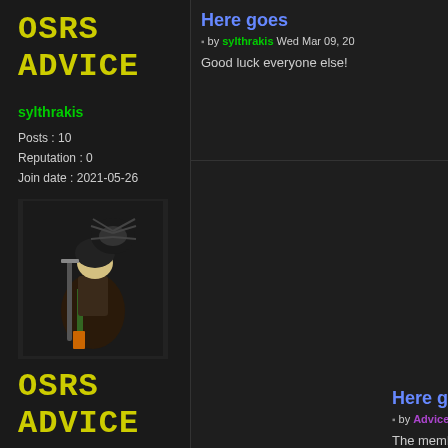[Figure (logo): OSRS ADVICE logo in yellow monospace text, top left]
sylthrakis
Posts : 10
Reputation : 0
Join date : 2021-05-26
[Figure (illustration): Pixel art game character avatar with dark background]
[Figure (logo): OSRS ADVICE logo in yellow monospace text, bottom left]
Here goes
by sylthrakis Wed Mar 09, 20
Good luck everyone else!
Here goes
by Advice Bot Wed Mar 09, 2
The member 'sylthrakis' h